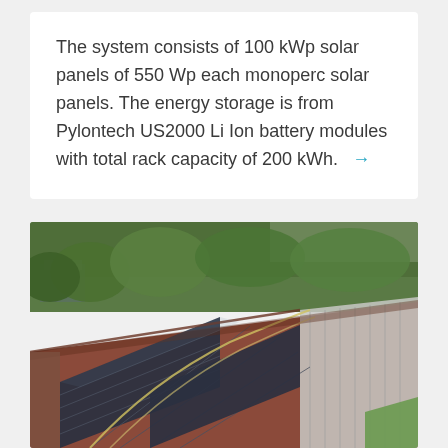The system consists of 100 kWp solar panels of 550 Wp each monoperc solar panels. The energy storage is from Pylontech US2000 Li Ion battery modules with total rack capacity of 200 kWh. →
[Figure (photo): Aerial/elevated view of solar panels installed on a red metal roof of a building, surrounded by tropical trees and vegetation in the background. A green roof of an adjacent building is visible to the right.]